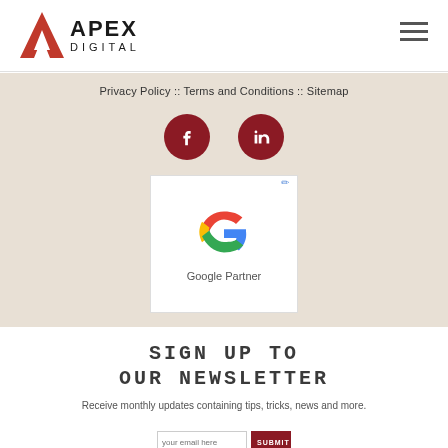Apex Digital logo and navigation hamburger menu
Privacy Policy :: Terms and Conditions :: Sitemap
[Figure (logo): Facebook and LinkedIn social media icons (dark red circles with white f and in logos)]
[Figure (logo): Google Partner badge with Google G logo and text 'Google Partner']
SIGN UP TO OUR NEWSLETTER
Receive monthly updates containing tips, tricks, news and more.
your email here / SUBMIT